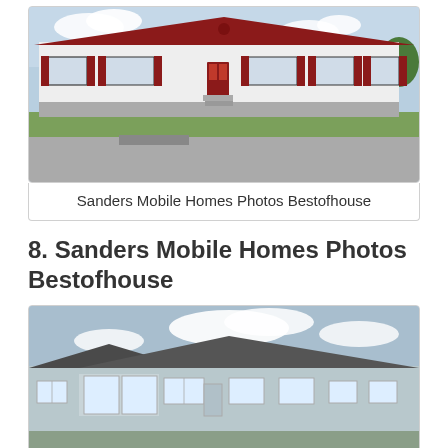[Figure (photo): Photo of a long single-wide manufactured/mobile home with white siding and dark red/maroon shutters and roof trim, sitting on blocks, with green lawn and street in front.]
Sanders Mobile Homes Photos Bestofhouse
8. Sanders Mobile Homes Photos Bestofhouse
[Figure (photo): Photo of a light blue/grey double-wide manufactured home with white trim windows, dark roof, and covered front entry porch area, photographed from an angle showing the front and side.]